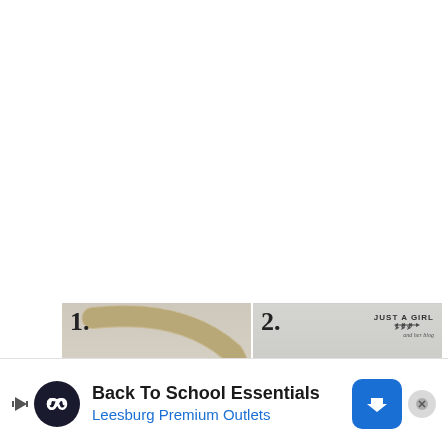[Figure (photo): Step 1 photo showing twine-wrapped horn or branch and small decorative cream-colored rosette flowers on a light surface.]
[Figure (photo): Step 2 photo showing folded linen or felt fabric material on a light surface. Branded with 'JUST A GIRL and her blog' logo in upper right corner.]
[Figure (screenshot): Advertisement banner: 'Back To School Essentials - Leesburg Premium Outlets' with infinity loop icon, navigation arrow icon, and close button.]